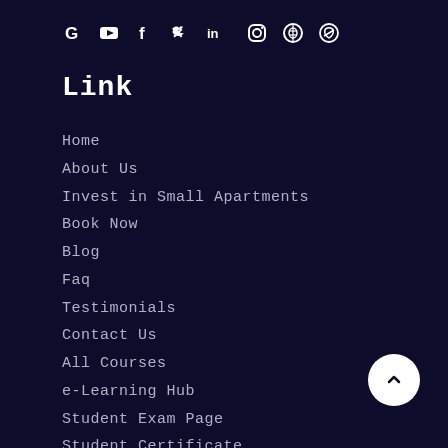[Figure (infographic): Social media icons row: Google (G), YouTube, Facebook (f), Twitter, LinkedIn (in), Instagram, Pinterest, WhatsApp]
Link
Home
About Us
Invest in Small Apartments
Book Now
Blog
Faq
Testimonials
Contact Us
All Courses
e-Learning Hub
Student Exam Page
Student Certificate
Int'l Investing Partners
Short Courses